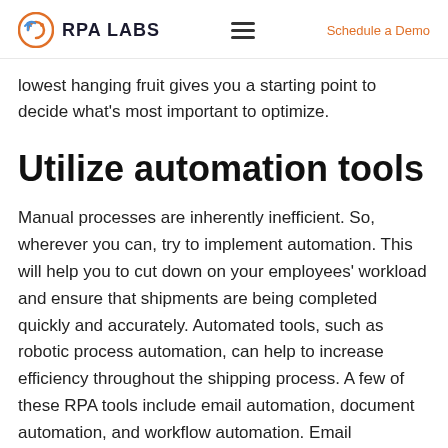RPA LABS | Schedule a Demo
lowest hanging fruit gives you a starting point to decide what's most important to optimize.
Utilize automation tools
Manual processes are inherently inefficient. So, wherever you can, try to implement automation. This will help you to cut down on your employees' workload and ensure that shipments are being completed quickly and accurately. Automated tools, such as robotic process automation, can help to increase efficiency throughout the shipping process. A few of these RPA tools include email automation, document automation, and workflow automation. Email automation is able to open emails, analyze the content, and respond to a customer inquiry in